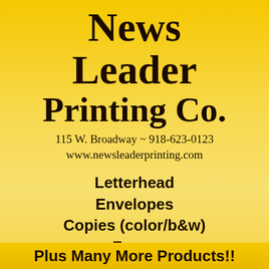News Leader Printing Co.
115 W. Broadway ~ 918-623-0123
www.newsleaderprinting.com
Letterhead
Envelopes
Copies (color/b&w)
Faxes
Business Cards
Plus Many More Products!!